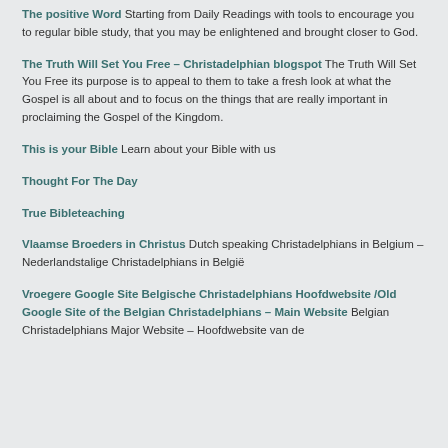The positive Word Starting from Daily Readings with tools to encourage you to regular bible study, that you may be enlightened and brought closer to God.
The Truth Will Set You Free – Christadelphian blogspot The Truth Will Set You Free its purpose is to appeal to them to take a fresh look at what the Gospel is all about and to focus on the things that are really important in proclaiming the Gospel of the Kingdom.
This is your Bible Learn about your Bible with us
Thought For The Day
True Bibleteaching
Vlaamse Broeders in Christus Dutch speaking Christadelphians in Belgium – Nederlandstalige Christadelphians in België
Vroegere Google Site Belgische Christadelphians Hoofdwebsite /Old Google Site of the Belgian Christadelphians – Main Website Belgian Christadelphians Major Website – Hoofdwebsite van de